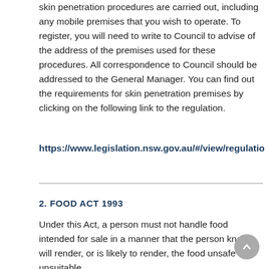skin penetration procedures are carried out, including any mobile premises that you wish to operate. To register, you will need to write to Council to advise of the address of the premises used for these procedures. All correspondence to Council should be addressed to the General Manager. You can find out the requirements for skin penetration premises by clicking on the following link to the regulation.
https://www.legislation.nsw.gov.au/#/view/regulatio
2. FOOD ACT 1993
Under this Act, a person must not handle food intended for sale in a manner that the person knows will render, or is likely to render, the food unsafe or unsuitable.